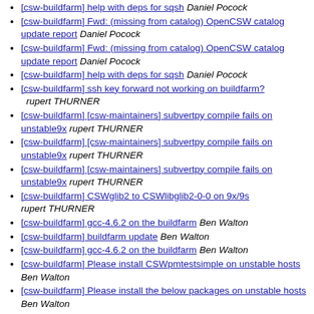[csw-buildfarm] help with deps for sqsh   Daniel Pocock
[csw-buildfarm] Fwd: (missing from catalog) OpenCSW catalog update report   Daniel Pocock
[csw-buildfarm] Fwd: (missing from catalog) OpenCSW catalog update report   Daniel Pocock
[csw-buildfarm] help with deps for sqsh   Daniel Pocock
[csw-buildfarm] ssh key forward not working on buildfarm?   rupert THURNER
[csw-buildfarm] [csw-maintainers] subvertpy compile fails on unstable9x   rupert THURNER
[csw-buildfarm] [csw-maintainers] subvertpy compile fails on unstable9x   rupert THURNER
[csw-buildfarm] [csw-maintainers] subvertpy compile fails on unstable9x   rupert THURNER
[csw-buildfarm] CSWglib2 to CSWlibglib2-0-0 on 9x/9s   rupert THURNER
[csw-buildfarm] gcc-4.6.2 on the buildfarm   Ben Walton
[csw-buildfarm] buildfarm update   Ben Walton
[csw-buildfarm] gcc-4.6.2 on the buildfarm   Ben Walton
[csw-buildfarm] Please install CSWpmtestsimple on unstable hosts   Ben Walton
[csw-buildfarm] Please install the below packages on unstable hosts   Ben Walton
[csw-buildfarm] ganglia-dev and libganglia 3.2 needed on buildfarm   Ben Walton